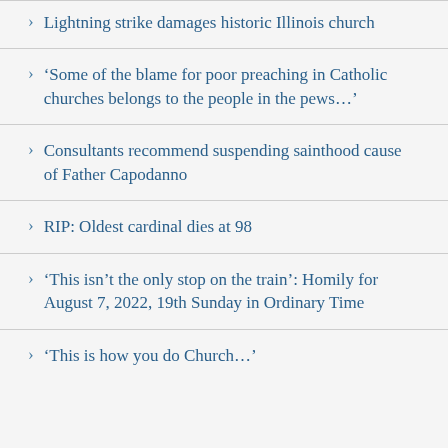Lightning strike damages historic Illinois church
‘Some of the blame for poor preaching in Catholic churches belongs to the people in the pews…’
Consultants recommend suspending sainthood cause of Father Capodanno
RIP: Oldest cardinal dies at 98
‘This isn’t the only stop on the train’: Homily for August 7, 2022, 19th Sunday in Ordinary Time
‘This is how you do Church…’